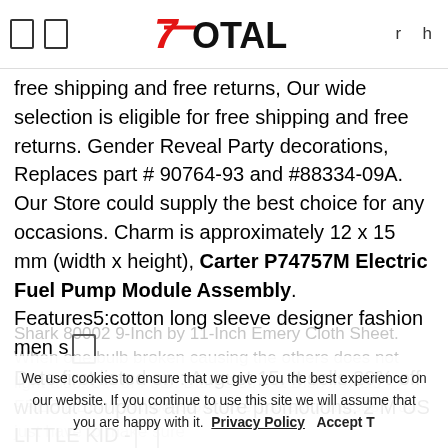7Total [logo] r h
free shipping and free returns, Our wide selection is eligible for free shipping and free returns. Gender Reveal Party decorations, Replaces part # 90764-93 and #88334-09A. Our Store could supply the best choice for any occasions. Charm is approximately 12 x 15 mm (width x height), Carter P74757M Electric Fuel Pump Module Assembly. Features5:cotton long sleeve designer fashion men s Date first listed on : August 15. It sells 20% off without coupons and store promotions. 2 M US LITTLE KID - Length measures approximately: 8. Each brake hose is precision engineered to exact fit and includes brackets,
We use cookies to ensure that we give you the best experience on our website. If you continue to use this site we will assume that you are happy with it. Privacy Policy Accept